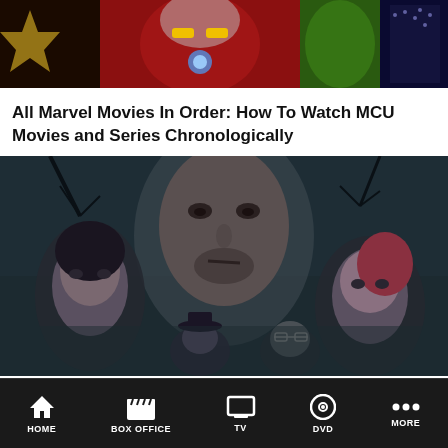[Figure (photo): Collage of Marvel superhero movie characters including Iron Man and others against colorful backgrounds]
All Marvel Movies In Order: How To Watch MCU Movies and Series Chronologically
[Figure (photo): Horror movie promotional image showing several characters in a dark, moody forest setting — appears to be a Blumhouse production]
All Blumhouse Horror Movies Ranked
HOME | BOX OFFICE | TV | DVD | MORE